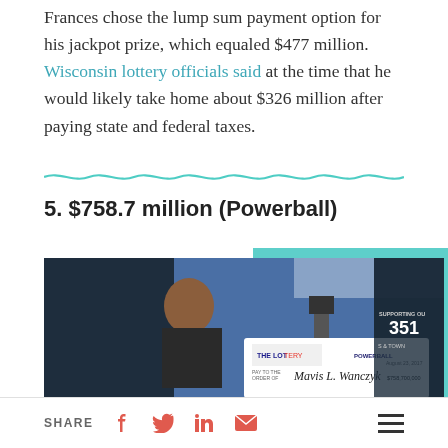Frances chose the lump sum payment option for his jackpot prize, which equaled $477 million. Wisconsin lottery officials said at the time that he would likely take home about $326 million after paying state and federal taxes.
5. $758.7 million (Powerball)
[Figure (photo): A woman (Mavis L. Wanczyk) holding a large Powerball lottery prize check from The Lottery for $758,700,000, dated August 23, 2017, at a press event with signage reading 'Supporting our 351 Cities & Towns' in the background.]
SHARE [facebook] [twitter] [linkedin] [email] [menu]